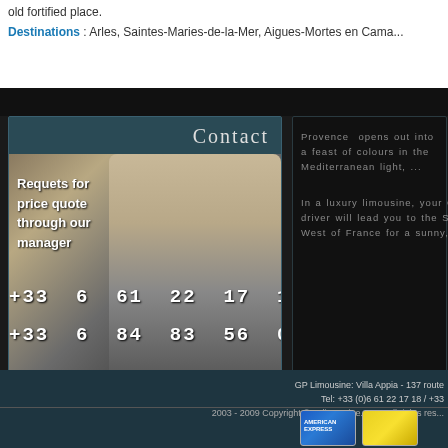old fortified place.
Destinations : Arles, Saintes-Maries-de-la-Mer, Aigues-Mortes en Cama...
Contact
Requets for price quote through our manager
+33 6 61 22 17 18
+33 6 84 83 56 09
Provence opens out into a feast of colours in the Mediterranean light, ...
In a luxury limousine, your G driver will lead you to the So West of France for a sunny,
GP Limousine: Villa Appia - 137 route Tel: +33 (0)6 61 22 17 18 / +33
2003 - 2009 Copyright © gplimousine.com - all rights res...
[Figure (photo): American Express payment card logo and another payment card]